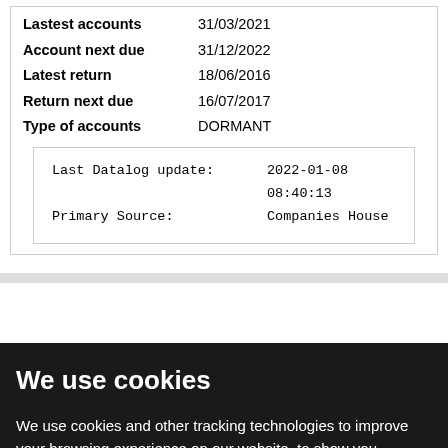| Lastest accounts | 31/03/2021 |
| Account next due | 31/12/2022 |
| Latest return | 18/06/2016 |
| Return next due | 16/07/2017 |
| Type of accounts | DORMANT |
| Last Datalog update: | 2022-01-08 08:40:13 |
| Primary Source: | Companies House |
We use cookies
We use cookies and other tracking technologies to improve your browsing experience on our website, to show you personalized content and targeted ads, to analyze our website traffic, and